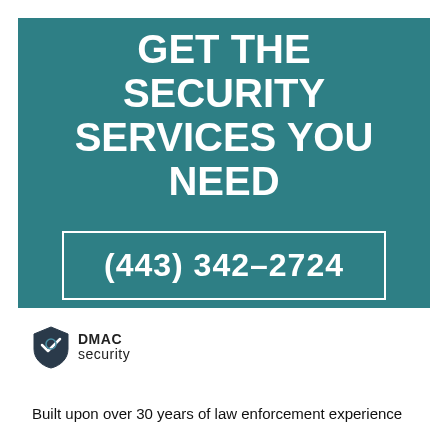GET THE SECURITY SERVICES YOU NEED
(443) 342–2724
[Figure (logo): DMAC Security shield logo with text 'DMAC security']
Built upon over 30 years of law enforcement experience